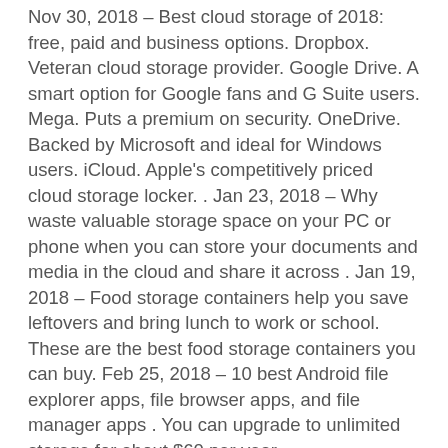Nov 30, 2018 – Best cloud storage of 2018: free, paid and business options. Dropbox. Veteran cloud storage provider. Google Drive. A smart option for Google fans and G Suite users. Mega. Puts a premium on security. OneDrive. Backed by Microsoft and ideal for Windows users. iCloud. Apple's competitively priced cloud storage locker. . Jan 23, 2018 – Why waste valuable storage space on your PC or phone when you can store your documents and media in the cloud and share it across . Jan 19, 2018 – Food storage containers help you save leftovers and bring lunch to work or school. These are the best food storage containers you can buy. Feb 25, 2018 – 10 best Android file explorer apps, file browser apps, and file manager apps . You can upgrade to unlimited storage for about $60 per year. #StorageRackForHeavyBars #CanStorageRackAustralia #CanStorage